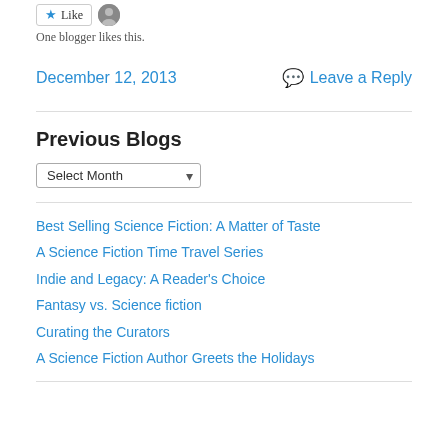One blogger likes this.
December 12, 2013
Leave a Reply
Previous Blogs
Select Month
Best Selling Science Fiction: A Matter of Taste
A Science Fiction Time Travel Series
Indie and Legacy: A Reader's Choice
Fantasy vs. Science fiction
Curating the Curators
A Science Fiction Author Greets the Holidays